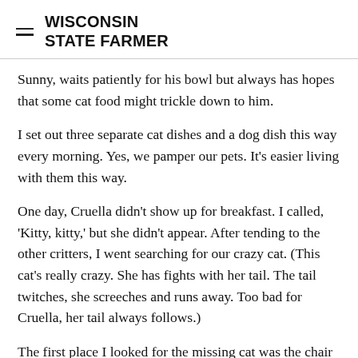WISCONSIN STATE FARMER
Sunny, waits patiently for his bowl but always has hopes that some cat food might trickle down to him.
I set out three separate cat dishes and a dog dish this way every morning. Yes, we pamper our pets. It's easier living with them this way.
One day, Cruella didn't show up for breakfast. I called, 'Kitty, kitty,' but she didn't appear. After tending to the other critters, I went searching for our crazy cat. (This cat's really crazy. She has fights with her tail. The tail twitches, she screeches and runs away. Too bad for Cruella, her tail always follows.)
The first place I looked for the missing cat was the chair she likes to sleep on in the living room. No